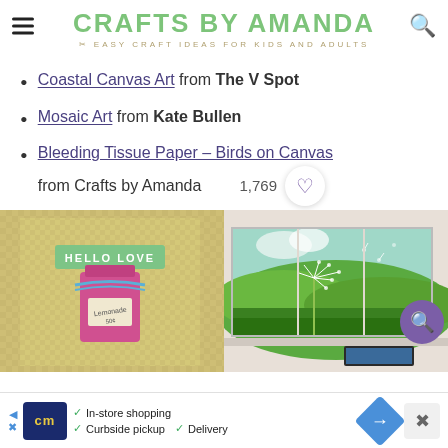CRAFTS BY AMANDA — EASY CRAFT IDEAS FOR KIDS AND ADULTS
Coastal Canvas Art from The V Spot
Mosaic Art from Kate Bullen
Bleeding Tissue Paper – Birds on Canvas from Crafts by Amanda
[Figure (photo): Craft card with yellow gingham background and pink mason jar with 'Hello Love' label]
[Figure (photo): Green field landscape painting with dandelion on triptych canvas]